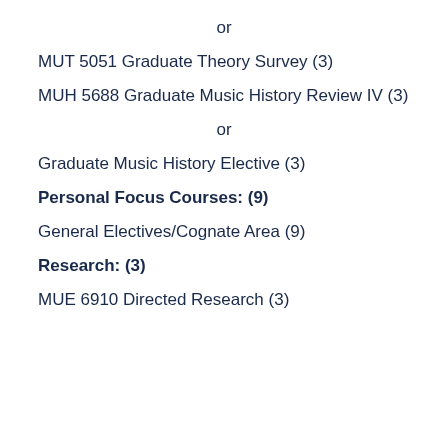or
MUT 5051 Graduate Theory Survey (3)
MUH 5688 Graduate Music History Review IV (3)
or
Graduate Music History Elective (3)
Personal Focus Courses: (9)
General Electives/Cognate Area (9)
Research: (3)
MUE 6910 Directed Research (3)